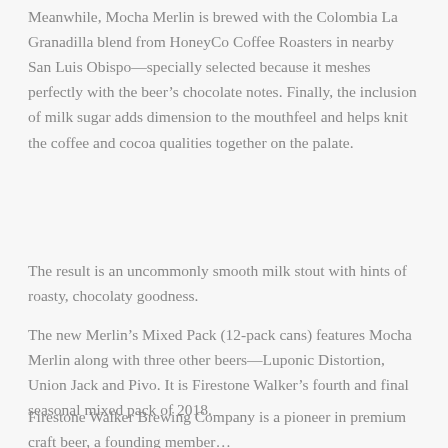Meanwhile, Mocha Merlin is brewed with the Colombia La Granadilla blend from HoneyCo Coffee Roasters in nearby San Luis Obispo—specially selected because it meshes perfectly with the beer's chocolate notes. Finally, the inclusion of milk sugar adds dimension to the mouthfeel and helps knit the coffee and cocoa qualities together on the palate.
The result is an uncommonly smooth milk stout with hints of roasty, chocolaty goodness.
The new Merlin's Mixed Pack (12-pack cans) features Mocha Merlin along with three other beers—Luponic Distortion, Union Jack and Pivo. It is Firestone Walker's fourth and final seasonal mixed pack of 2018.
Firestone Walker Brewing Company is a pioneer in premium craft beer, a founding member...